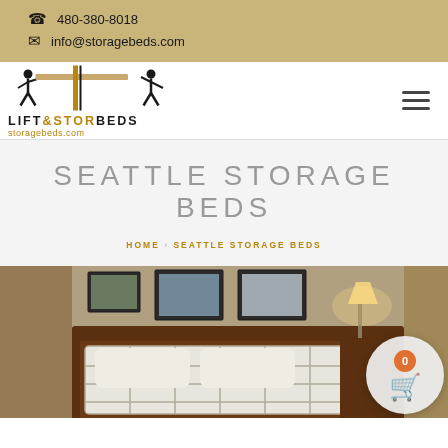480-380-8018 | info@storagebeds.com
[Figure (logo): Lift & Stor Beds logo with two figures lifting/moving a platform bed and a plane. Text: LIFT&STORBEDS storagebeds.com]
SEATTLE STORAGE BEDS
HOME > SEATTLE STORAGE BEDS
[Figure (photo): Bedroom photo showing a wooden bed with white plaid bedding, framed photographs on the wall, a nightstand with a lamp giving warm light.]